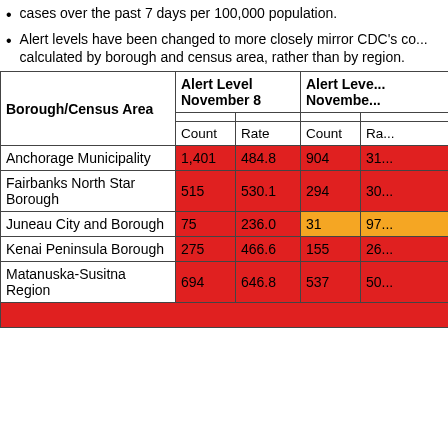cases over the past 7 days per 100,000 population.
Alert levels have been changed to more closely mirror CDC's co... calculated by borough and census area, rather than by region.
| Borough/Census Area | Alert Level November 8 Count | Alert Level November 8 Rate | Alert Level November... Count | Alert Level November... Rate |
| --- | --- | --- | --- | --- |
| Anchorage Municipality | 1,401 | 484.8 | 904 | 31... |
| Fairbanks North Star Borough | 515 | 530.1 | 294 | 30... |
| Juneau City and Borough | 75 | 236.0 | 31 | 97... |
| Kenai Peninsula Borough | 275 | 466.6 | 155 | 26... |
| Matanuska-Susitna Region | 694 | 646.8 | 537 | 50... |